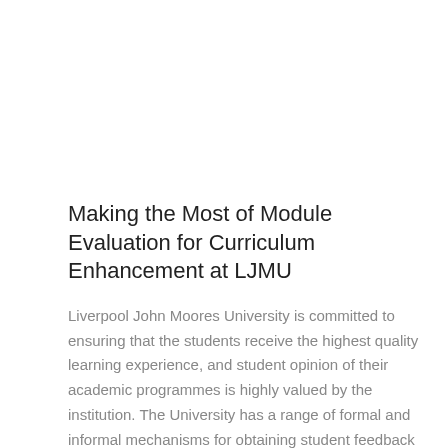Making the Most of Module Evaluation for Curriculum Enhancement at LJMU
Liverpool John Moores University is committed to ensuring that the students receive the highest quality learning experience, and student opinion of their academic programmes is highly valued by the institution. The University has a range of formal and informal mechanisms for obtaining student feedback of